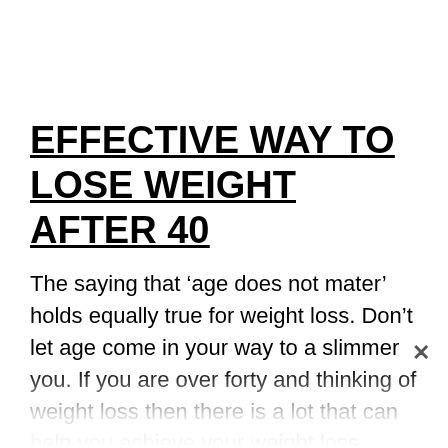EFFECTIVE WAY TO LOSE WEIGHT AFTER 40
The saying that ‘age does not mater’ holds equally true for weight loss. Don’t let age come in your way to a slimmer you. If you are over forty and thinking of weight loss then there is a lot that can help you achieve your weight loss